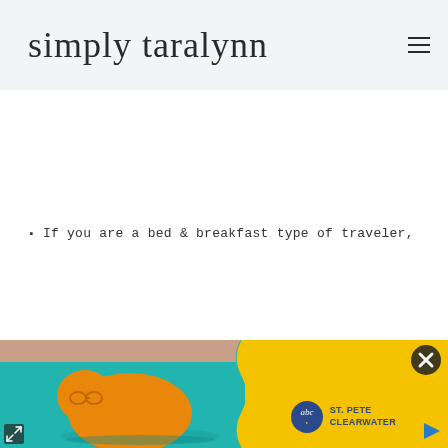simply taralynn
If you are a bed & breakfast type of traveler,
[Figure (illustration): Advertisement banner for St. Pete Clearwater featuring an orange illustrated figure swimming in teal water with a yellow background on the right side, St. Pete Clearwater logo, close button, and expand/play icons.]